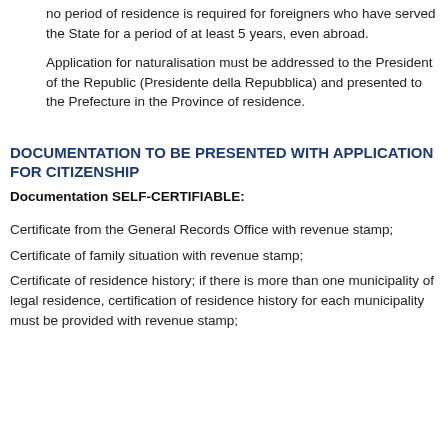no period of residence is required for foreigners who have served the State for a period of at least 5 years, even abroad.
Application for naturalisation must be addressed to the President of the Republic (Presidente della Repubblica) and presented to the Prefecture in the Province of residence.
DOCUMENTATION TO BE PRESENTED WITH APPLICATION FOR CITIZENSHIP
Documentation SELF-CERTIFIABLE:
Certificate from the General Records Office with revenue stamp;
Certificate of family situation with revenue stamp;
Certificate of residence history; if there is more than one municipality of legal residence, certification of residence history for each municipality must be provided with revenue stamp;